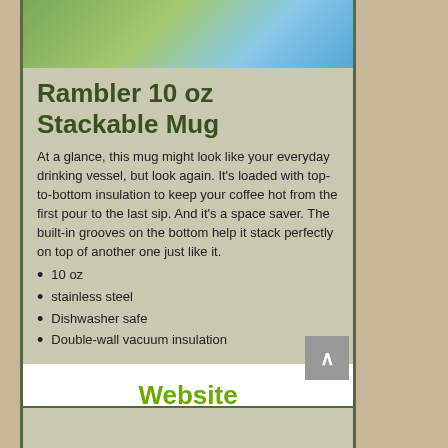[Figure (photo): Product image strip at top of device panel showing green grass and blue sky]
Rambler 10 oz Stackable Mug
At a glance, this mug might look like your everyday drinking vessel, but look again. It's loaded with top-to-bottom insulation to keep your coffee hot from the first pour to the last sip. And it's a space saver. The built-in grooves on the bottom help it stack perfectly on top of another one just like it.
10 oz
stainless steel
Dishwasher safe
Double-wall vacuum insulation
Website